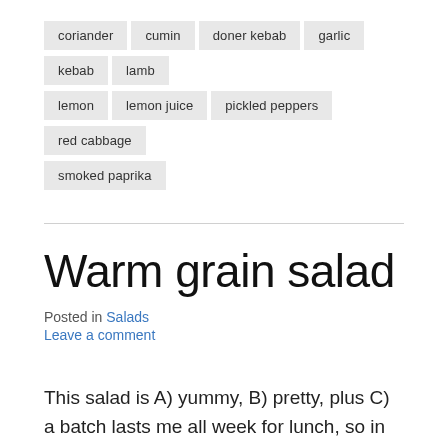coriander
cumin
doner kebab
garlic
kebab
lamb
lemon
lemon juice
pickled peppers
red cabbage
smoked paprika
Warm grain salad
Posted in Salads
Leave a comment
This salad is A) yummy, B) pretty, plus C) a batch lasts me all week for lunch, so in my book it's a